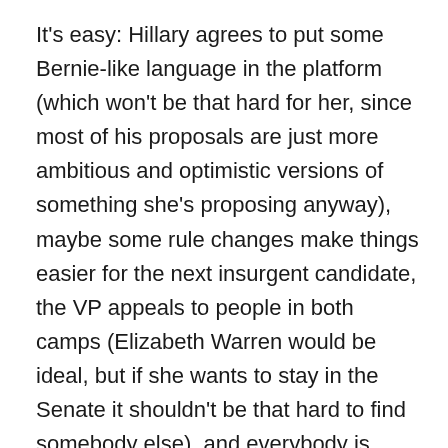It's easy: Hillary agrees to put some Bernie-like language in the platform (which won't be that hard for her, since most of his proposals are just more ambitious and optimistic versions of something she's proposing anyway), maybe some rule changes make things easier for the next insurgent candidate, the VP appeals to people in both camps (Elizabeth Warren would be ideal, but if she wants to stay in the Senate it shouldn't be that hard to find somebody else), and everybody is happy. In a prime-time speech, Bernie gives his supporters a chance to congratulate themselves on a hard-fought campaign and yell really loud for him one last time, and then he lays out all the common values that make it essential that Clinton become president next January rather than Donald Trump. Everybody winds up on the podium waving their arms and smiling into the national-network cameras as the credits